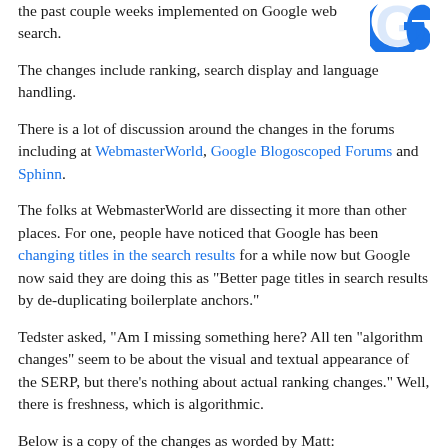the past couple weeks implemented on Google web search.
[Figure (logo): Google 'G' logo in blue, partial view, top right corner]
The changes include ranking, search display and language handling.
There is a lot of discussion around the changes in the forums including at WebmasterWorld, Google Blogoscoped Forums and Sphinn.
The folks at WebmasterWorld are dissecting it more than other places. For one, people have noticed that Google has been changing titles in the search results for a while now but Google now said they are doing this as "Better page titles in search results by de-duplicating boilerplate anchors."
Tedster asked, "Am I missing something here? All ten "algorithm changes" seem to be about the visual and textual appearance of the SERP, but there's nothing about actual ranking changes." Well, there is freshness, which is algorithmic.
Below is a copy of the changes as worded by Matt: